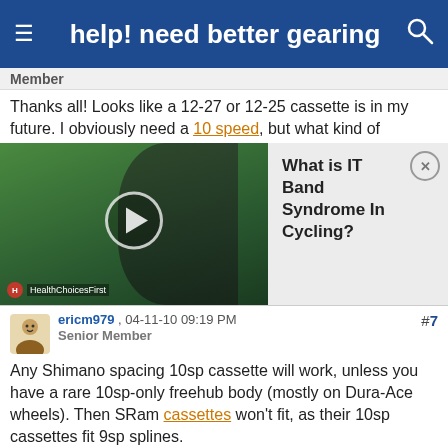help! need better gearing
Member
Thanks all! Looks like a 12-27 or 12-25 cassette is in my future. I obviously need a 10 speed, but what kind of
[Figure (screenshot): Video thumbnail showing a cyclist (green-tinted clothing) with a play button overlay. Branded HealthChoicesFirst. Adjacent advertisement panel reads 'What is IT Band Syndrome In Cycling?' with a close button.]
#7
ericm979 , 04-11-10 09:19 PM
Senior Member
Any Shimano spacing 10sp cassette will work, unless you have a rare 10sp-only freehub body (mostly on Dura-Ace wheels). Then SRam cassettes won't fit, as their 10sp cassettes fit 9sp splines.
Reply